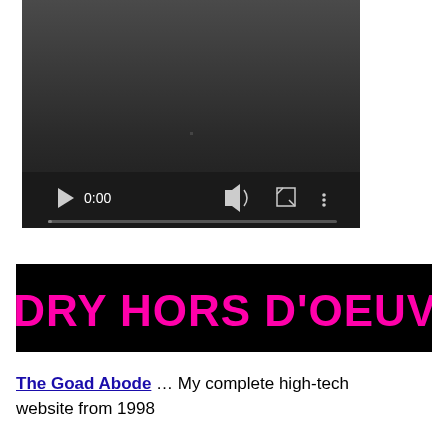[Figure (screenshot): Embedded video player with dark background, showing playback controls: play button, time display '0:00', volume icon, fullscreen icon, more options icon, and a progress bar at the bottom.]
[Figure (screenshot): Black banner image with bold magenta/hot-pink text reading 'SUNDRY HORS D'OEUVRES']
The Goad Abode … My complete high-tech website from 1998